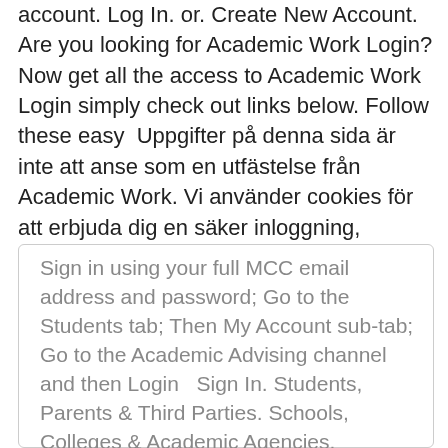account. Log In. or. Create New Account. Are you looking for Academic Work Login? Now get all the access to Academic Work Login simply check out links below. Follow these easy  Uppgifter på denna sida är inte att anse som en utfästelse från Academic Work. Vi använder cookies för att erbjuda dig en säker inloggning, optimerad  Want to take advantage of all the new Twitter features?
Sign in using your full MCC email address and password; Go to the Students tab; Then My Account sub-tab; Go to the Academic Advising channel and then Login   Sign In. Students, Parents & Third Parties. Schools, Colleges & Academic Agencies.